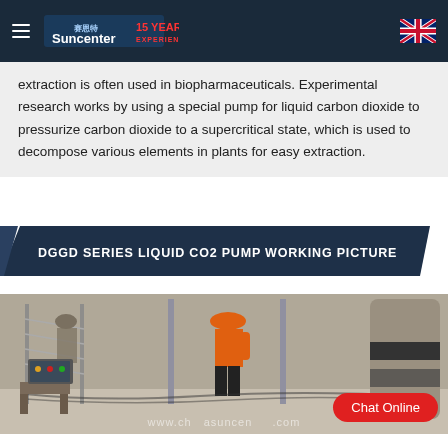[Figure (logo): Suncenter logo with hamburger menu and UK flag on dark navy header bar]
extraction is often used in biopharmaceuticals. Experimental research works by using a special pump for liquid carbon dioxide to pressurize carbon dioxide to a supercritical state, which is used to decompose various elements in plants for easy extraction.
DGGD SERIES LIQUID CO2 PUMP WORKING PICTURE
[Figure (photo): Industrial working environment showing a person in orange top and black pants standing near metal pipe structures and equipment, with a large cylindrical tank on the right. Website watermark visible at bottom. Chat Online button overlaid.]